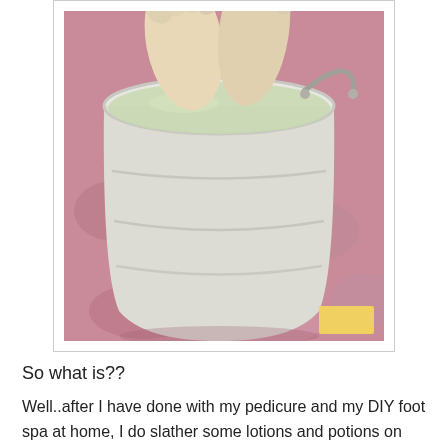[Figure (photo): Feet soaking in a white metal bucket filled with greenish water, sitting on a pink fluffy rug. A small yellow rectangle is visible in the bottom right corner.]
So what is??
Well..after I have done with my pedicure and my DIY foot spa at home, I do slather some lotions and potions on them every now and then, just to make sure that they are being treated fairly and with tender, loving care just like the other parts of my body.. And most importantly, to make sure that my feet are giving me the best they have..